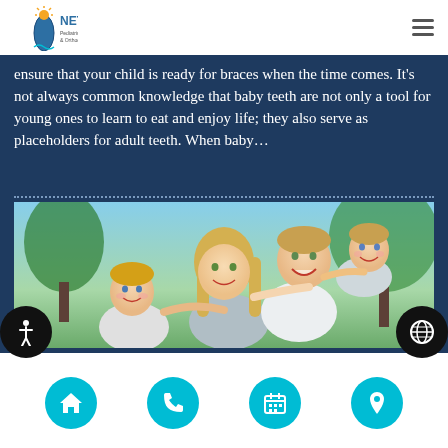NETT Pediatric Dentistry & Orthodontics
ensure that your child is ready for braces when the time comes. It's not always common knowledge that baby teeth are not only a tool for young ones to learn to eat and enjoy life; they also serve as placeholders for adult teeth. When baby…
[Figure (photo): Family photo showing smiling parents with two young children outdoors with green trees in background]
Navigation icons: home, phone, calendar, location